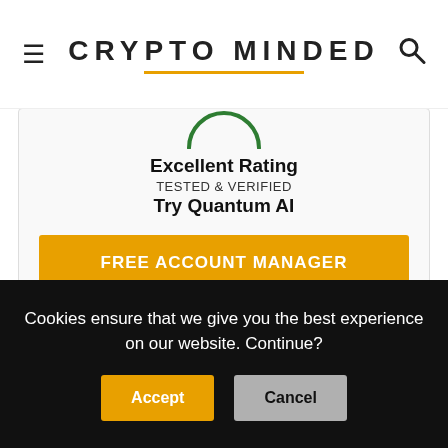CRYPTO MINDED
[Figure (logo): Green semicircle arc logo above card text]
Excellent Rating
TESTED & VERIFIED
Try Quantum AI
FREE ACCOUNT MANAGER
Trevor Noah, the host of The Daily Show, has been rumored to be involved with Quantum AI . Many people are saying that he became wealthy because
Cookies ensure that we give you the best experience on our website. Continue?